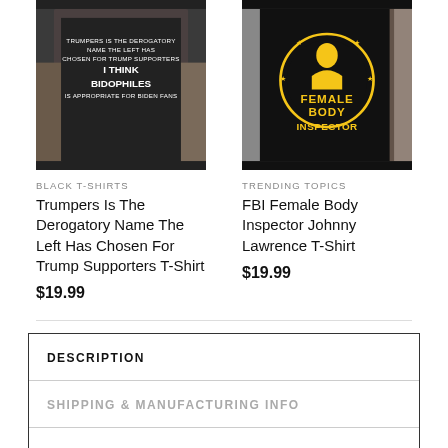[Figure (photo): Black t-shirt with text: TRUMPERS IS THE DEROGATORY NAME THE LEFT HAS CHOSEN FOR TRUMP SUPPORTERS I THINK BIDOPHILES IS APPROPRIATE FOR BIDEN FANS, worn by a tattooed person]
BLACK T-SHIRTS
Trumpers Is The Derogatory Name The Left Has Chosen For Trump Supporters T-Shirt
$19.99
[Figure (photo): Black t-shirt with FEMALE BODY INSPECTOR text in yellow, worn by a tattooed person]
TRENDING TOPICS
FBI Female Body Inspector Johnny Lawrence T-Shirt
$19.99
DESCRIPTION
SHIPPING & MANUFACTURING INFO